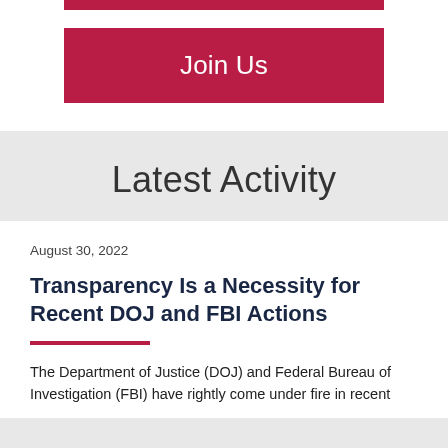[Figure (other): Red decorative bar at top of white section]
Join Us
Latest Activity
August 30, 2022
Transparency Is a Necessity for Recent DOJ and FBI Actions
The Department of Justice (DOJ) and Federal Bureau of Investigation (FBI) have rightly come under fire in recent